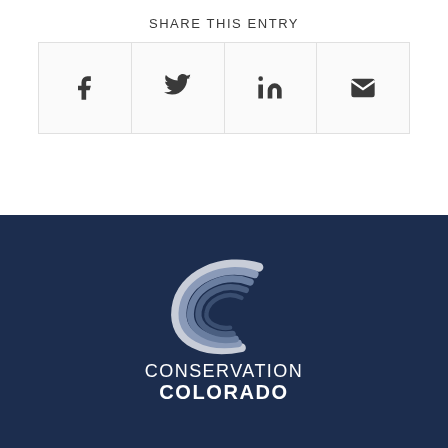SHARE THIS ENTRY
[Figure (infographic): Four social share icon boxes in a row: Facebook (f), Twitter (bird), LinkedIn (in), Email (envelope)]
[Figure (logo): Conservation Colorado logo: stylized C shape with flowing lines in white and grey on dark navy background, with text CONSERVATION COLORADO below]